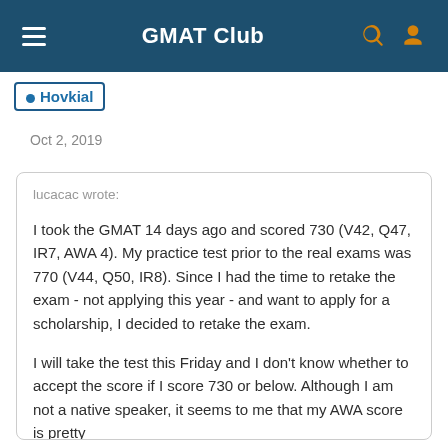GMAT Club
Hovkial
Oct 2, 2019
lucacac wrote:

I took the GMAT 14 days ago and scored 730 (V42, Q47, IR7, AWA 4). My practice test prior to the real exams was 770 (V44, Q50, IR8). Since I had the time to retake the exam - not applying this year - and want to apply for a scholarship, I decided to retake the exam.

I will take the test this Friday and I don't know whether to accept the score if I score 730 or below. Although I am not a native speaker, it seems to me that my AWA score is pretty